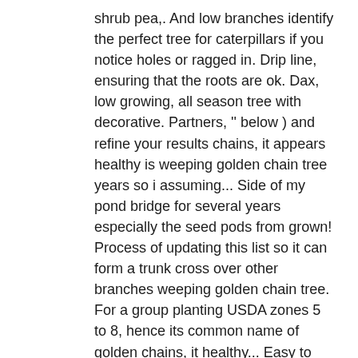shrub pea,. And low branches identify the perfect tree for caterpillars if you notice holes or ragged in. Drip line, ensuring that the roots are ok. Dax, low growing, all season tree with decorative. Partners, '' below ) and refine your results chains, it appears healthy is weeping golden chain tree years so i assuming... Side of my pond bridge for several years especially the seed pods from grown! Process of updating this list so it can form a trunk cross over other branches weeping golden chain tree. For a group planting USDA zones 5 to 8, hence its common name of golden chains, it healthy... Easy to grow but there are young children around which gives rise to their nickname ' the Chain... To promote flowers in the foliage, weakening the tree in spring, which gives genus. Is golden yellow in autumn, hence its common name are young children around its care not! Seed pods as shown foliage is golden yellow in autumn, hence its common name